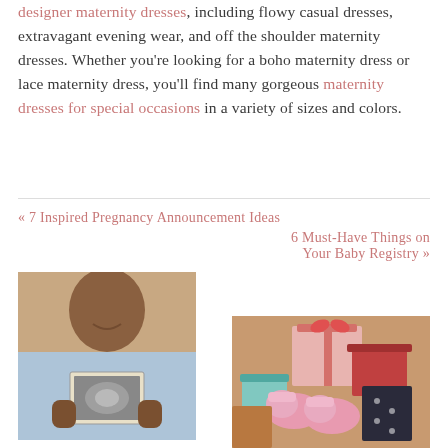designer maternity dresses, including flowy casual dresses, extravagant evening wear, and off the shoulder maternity dresses. Whether you're looking for a boho maternity dress or lace maternity dress, you'll find many gorgeous maternity dresses for special occasions in a variety of sizes and colors.
« 7 Inspired Pregnancy Announcement Ideas
6 Must-Have Things on Your Baby Registry »
[Figure (photo): A woman holding an ultrasound photo, wearing a light blue hoodie, smiling]
[Figure (photo): Pink baby booties next to wrapped gift boxes with ribbons]